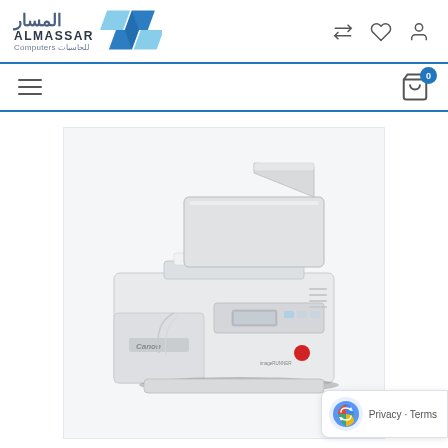[Figure (logo): Almassar Computers logo with Arabic text and blue diamond/X graphic]
[Figure (other): Header icons: compare/refresh, heart/wishlist, user/account]
[Figure (other): Navigation bar with hamburger menu icon on left and shopping cart with badge '0' on right]
[Figure (photo): Canon imageRUNNER multifunction copier/printer in white, shown in product image area with light grey background]
[Figure (other): Privacy - Terms badge with Google-style circular icon in bottom right corner]